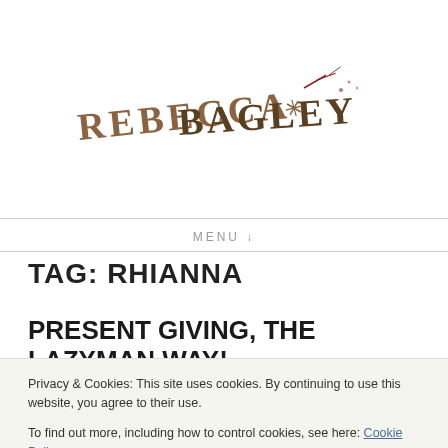[Figure (logo): Rebecca Bagley handwritten logo with decorative leaf/bird motifs in brown]
MENU ↓
TAG: RHIANNA
PRESENT GIVING, THE LAZYMAN WAY!
Privacy & Cookies: This site uses cookies. By continuing to use this website, you agree to their use.
To find out more, including how to control cookies, see here: Cookie Policy
Close and accept
1 Comment